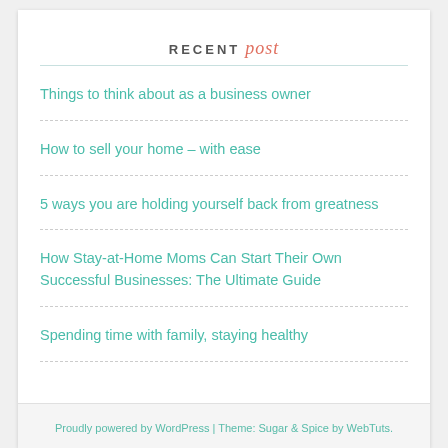RECENT post
Things to think about as a business owner
How to sell your home – with ease
5 ways you are holding yourself back from greatness
How Stay-at-Home Moms Can Start Their Own Successful Businesses: The Ultimate Guide
Spending time with family, staying healthy
Proudly powered by WordPress | Theme: Sugar & Spice by WebTuts.